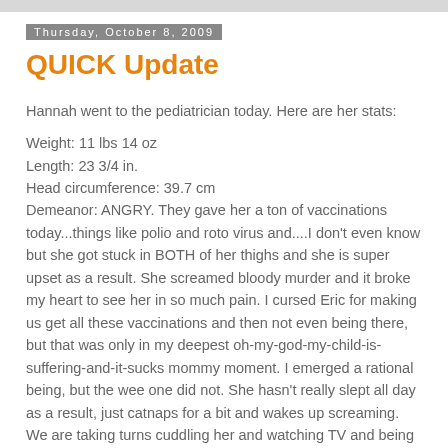Thursday, October 8, 2009
QUICK Update
Hannah went to the pediatrician today. Here are her stats:

Weight: 11 lbs 14 oz
Length: 23 3/4 in.
Head circumference: 39.7 cm
Demeanor: ANGRY. They gave her a ton of vaccinations today...things like polio and roto virus and....I don't even know but she got stuck in BOTH of her thighs and she is super upset as a result. She screamed bloody murder and it broke my heart to see her in so much pain. I cursed Eric for making us get all these vaccinations and then not even being there, but that was only in my deepest oh-my-god-my-child-is-suffering-and-it-sucks mommy moment. I emerged a rational being, but the wee one did not. She hasn't really slept all day as a result, just catnaps for a bit and wakes up screaming. We are taking turns cuddling her and watching TV and being total lazy blobs/loving parents.